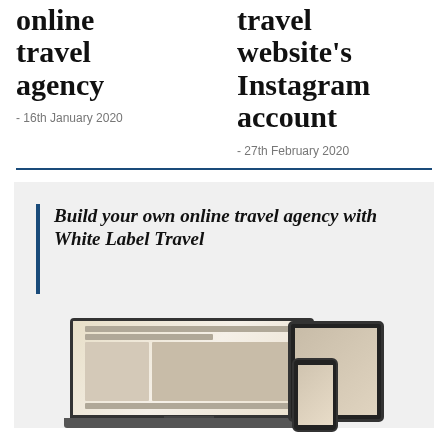online travel agency
- 16th January 2020
travel website's Instagram account
- 27th February 2020
Build your own online travel agency with White Label Travel
[Figure (photo): Laptop, tablet, and phone device mockups showing a travel booking website interface]